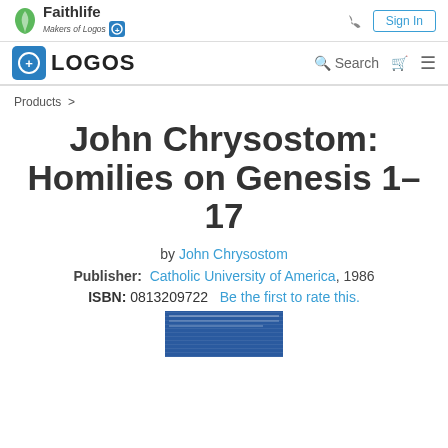Faithlife — Makers of Logos | Sign In
LOGOS | Search
Products >
John Chrysostom: Homilies on Genesis 1–17
by John Chrysostom
Publisher: Catholic University of America, 1986
ISBN: 0813209722   Be the first to rate this.
[Figure (photo): Book cover thumbnail showing text on blue background]